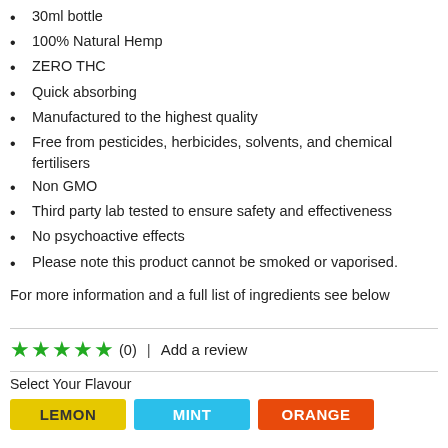30ml bottle
100% Natural Hemp
ZERO THC
Quick absorbing
Manufactured to the highest quality
Free from pesticides, herbicides, solvents, and chemical fertilisers
Non GMO
Third party lab tested to ensure safety and effectiveness
No psychoactive effects
Please note this product cannot be smoked or vaporised.
For more information and a full list of ingredients see below
★★★★★ (0)  |  Add a review
Select Your Flavour
LEMON  MINT  ORANGE